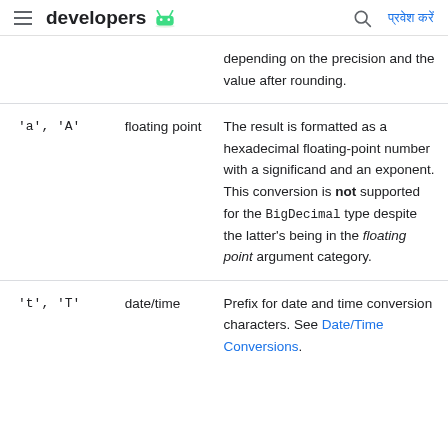developers [android logo]
| Conversion | Category | Description |
| --- | --- | --- |
|  |  | depending on the precision and the value after rounding. |
| 'a', 'A' | floating point | The result is formatted as a hexadecimal floating-point number with a significand and an exponent. This conversion is not supported for the BigDecimal type despite the latter's being in the floating point argument category. |
| 't', 'T' | date/time | Prefix for date and time conversion characters. See Date/Time Conversions. |